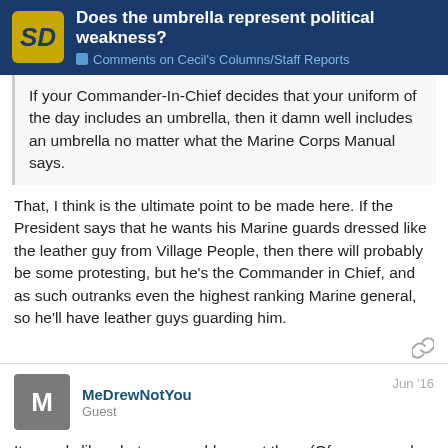Does the umbrella represent political weakness? | Comments on Cecil's Columns/Staff Reports
If your Commander-In-Chief decides that your uniform of the day includes an umbrella, then it damn well includes an umbrella no matter what the Marine Corps Manual says.
That, I think is the ultimate point to be made here. If the President says that he wants his Marine guards dressed like the leather guy from Village People, then there will probably be some protesting, but he's the Commander in Chief, and as such outranks even the highest ranking Marine general, so he'll have leather guys guarding him.
MeDrewNotYou
Guest
Jun '16
It sounds like what one would expect then. (Of course such an order would be kinda silly. And, as mentioned, the prez has